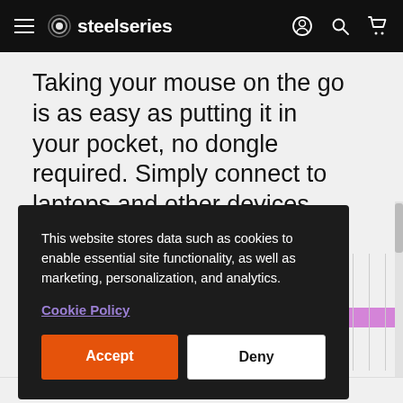steelseries
Taking your mouse on the go is as easy as putting it in your pocket, no dongle required. Simply connect to laptops and other devices via Bluetooth.
This website stores data such as cookies to enable essential site functionality, as well as marketing, personalization, and analytics.
Cookie Policy
Accept
Deny
MOUSE Z